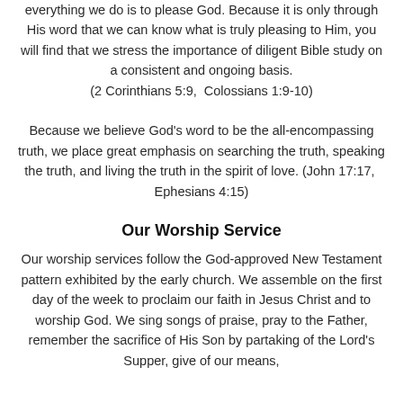everything we do is to please God. Because it is only through His word that we can know what is truly pleasing to Him, you will find that we stress the importance of diligent Bible study on a consistent and ongoing basis. (2 Corinthians 5:9,  Colossians 1:9-10)
Because we believe God’s word to be the all-encompassing truth, we place great emphasis on searching the truth, speaking the truth, and living the truth in the spirit of love. (John 17:17,  Ephesians 4:15)
Our Worship Service
Our worship services follow the God-approved New Testament pattern exhibited by the early church. We assemble on the first day of the week to proclaim our faith in Jesus Christ and to worship God. We sing songs of praise, pray to the Father, remember the sacrifice of His Son by partaking of the Lord’s Supper, give of our means,